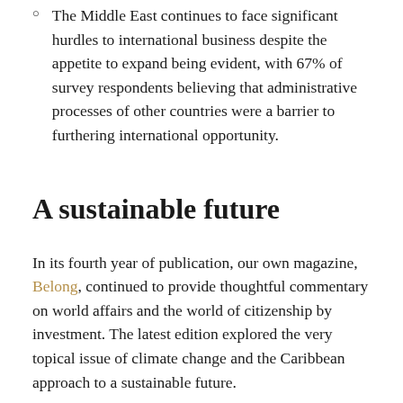The Middle East continues to face significant hurdles to international business despite the appetite to expand being evident, with 67% of survey respondents believing that administrative processes of other countries were a barrier to furthering international opportunity.
A sustainable future
In its fourth year of publication, our own magazine, Belong, continued to provide thoughtful commentary on world affairs and the world of citizenship by investment. The latest edition explored the very topical issue of climate change and the Caribbean approach to a sustainable future.